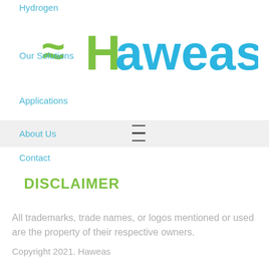Hydrogen
[Figure (logo): Haweas company logo with green wave symbol and green H followed by blue 'aweas' text]
Our Solutions
Applications
About Us
Contact
DISCLAIMER
All trademarks, trade names, or logos mentioned or used are the property of their respective owners.
Copyright 2021. Haweas